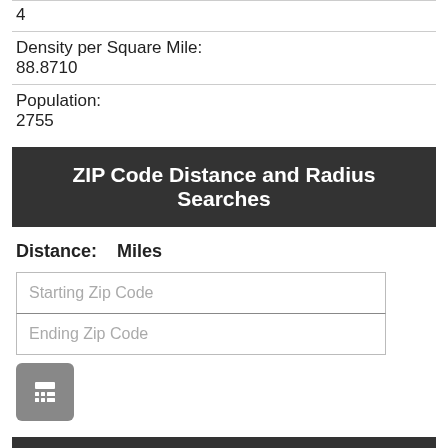4
Density per Square Mile:
88.8710
Population:
2755
ZIP Code Distance and Radius Searches
Distance:    Miles
Starting Zip Code
Ending Zip Code
[Figure (other): Calculator button icon (gray rounded square with calculator grid icon)]
Weather for Sullivan
...d
Gentle Breeze 1.79 m/s West(211°)